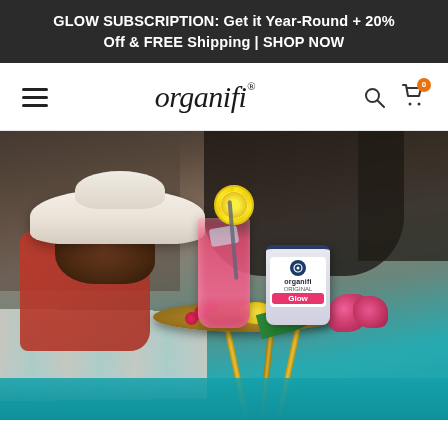GLOW SUBSCRIPTION: Get it Year-Round + 20% Off & FREE Shipping | SHOP NOW
[Figure (logo): Organifi brand logo with hamburger menu, search icon, and cart icon in white navigation bar]
[Figure (photo): Lifestyle photo of a woman in a wide-brim white hat resting by a pool. On a gold side table is a pink lemonade drink with lemon garnish and an Organifi Glow product container surrounded by raspberries, lemons, and pink roses. Teal pool water visible in background.]